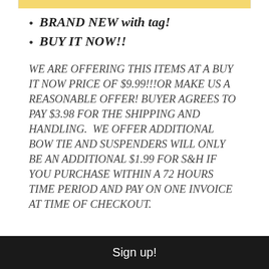BRAND NEW with tag!
BUY IT NOW!!
WE ARE OFFERING THIS ITEMS AT A BUY IT NOW PRICE OF $9.99!!!OR MAKE US A REASONABLE OFFER! BUYER AGREES TO PAY $3.98 FOR THE SHIPPING AND HANDLING.  WE OFFER ADDITIONAL BOW TIE AND SUSPENDERS WILL ONLY BE AN ADDITIONAL $1.99 FOR S&H IF YOU PURCHASE WITHIN A 72 HOURS TIME PERIOD AND PAY ON ONE INVOICE AT TIME OF CHECKOUT.
Sign up!